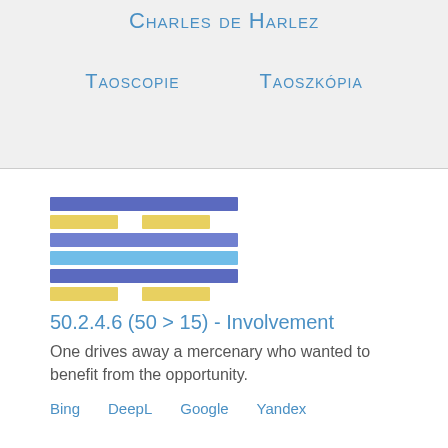Charles de Harlez
Taoscopie   Taoszkópia
[Figure (illustration): Hexagram figure composed of colored horizontal bars: dark blue full bar, split yellow bars, medium blue full bar, light blue full bar, dark blue full bar, split yellow bars]
50.2.4.6 (50 > 15) - Involvement
One drives away a mercenary who wanted to benefit from the opportunity.
Bing   DeepL   Google   Yandex